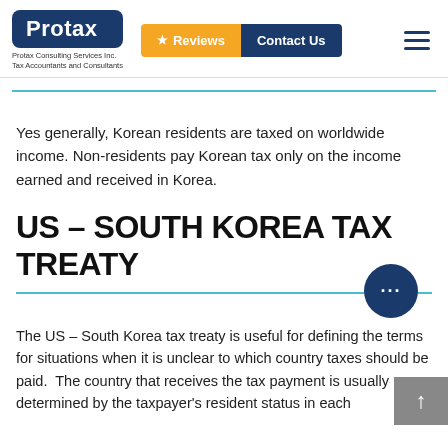Protax | Protax Consulting Services Inc. Tax Accountants and Consultants | Reviews | Contact Us
Yes generally, Korean residents are taxed on worldwide income. Non-residents pay Korean tax only on the income earned and received in Korea.
US – SOUTH KOREA TAX TREATY
The US – South Korea tax treaty is useful for defining the terms for situations when it is unclear to which country taxes should be paid.  The country that receives the tax payment is usually determined by the taxpayer's resident status in each